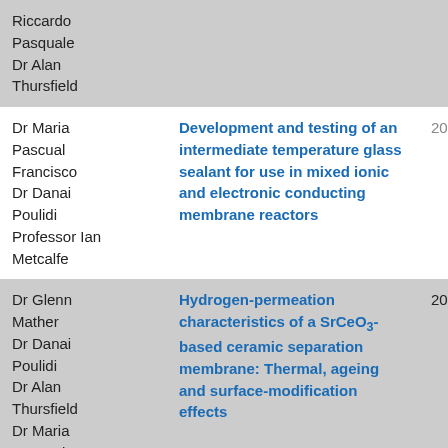| Authors | Title | Year |
| --- | --- | --- |
| Riccardo
Pasquale
Dr Alan
Thursfield |  |  |
| Dr Maria Pascual
Francisco
Dr Danai Poulidi
Professor Ian Metcalfe | Development and testing of an intermediate temperature glass sealant for use in mixed ionic and electronic conducting membrane reactors | 2010 |
| Dr Glenn Mather
Dr Danai Poulidi
Dr Alan Thursfield
Dr Maria Pascual
Francisco... | Hydrogen-permeation characteristics of a SrCeO3-based ceramic separation membrane: Thermal, ageing and surface-modification effects | 2010 |